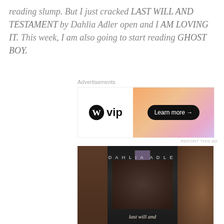reading slump. But I just cracked LAST WILL AND TESTAMENT by Dahlia Adler open and I AM LOVING IT. This week, I am also going to start reading GHOST BOY.
[Figure (other): WordPress VIP advertisement banner with orange-pink gradient background and 'Learn more' button]
[Figure (photo): Photo of the book 'Last Will and' by Dahlia Adler on a dark wooden table, with a small framed photo visible behind it. The book cover shows a person in a dark off-shoulder garment.]